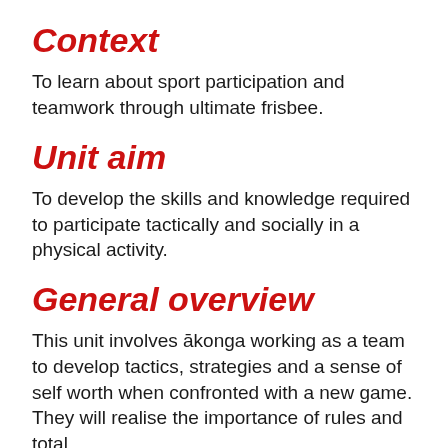Context
To learn about sport participation and teamwork through ultimate frisbee.
Unit aim
To develop the skills and knowledge required to participate tactically and socially in a physical activity.
General overview
This unit involves ākonga working as a team to develop tactics, strategies and a sense of self worth when confronted with a new game. They will realise the importance of rules and total